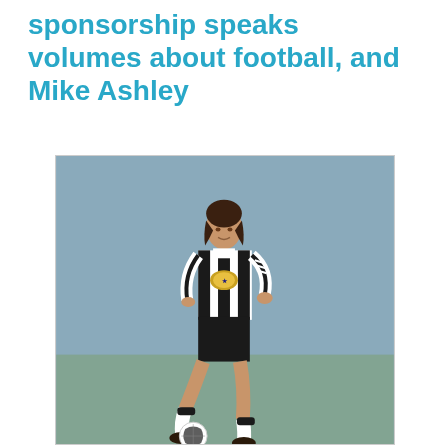sponsorship speaks volumes about football, and Mike Ashley
[Figure (photo): A football player wearing a black and white striped Newcastle United kit with a sponsor logo on the chest, dribbling a football. The player has dark shoulder-length hair and is photographed mid-action against a blurred blue-grey background.]